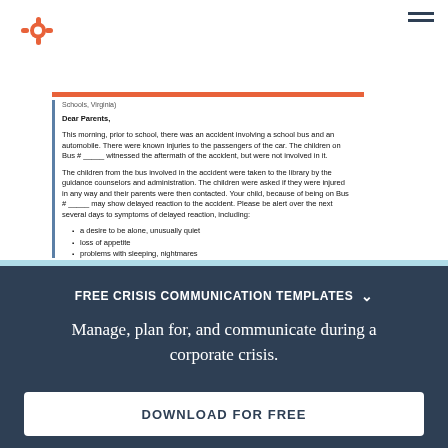HubSpot logo and navigation
Schools, Virginia)
Dear Parents,
This morning, prior to school, there was an accident involving a school bus and an automobile. There were known injuries to the passengers of the car. The children on Bus # _____ witnessed the aftermath of the accident, but were not involved in it.
The children from the bus involved in the accident were taken to the library by the guidance counselors and administration. The children were asked if they were injured in any way and their parents were then contacted. Your child, because of being on Bus # _____ may show delayed reaction to the accident. Please be alert over the next several days to symptoms of delayed reaction, including:
a desire to be alone, unusually quiet
loss of appetite
problems with sleeping, nightmares
difficulty with concentration
crying
angry outburst, short temper
headaches, upset stomach
FREE CRISIS COMMUNICATION TEMPLATES
Manage, plan for, and communicate during a corporate crisis.
DOWNLOAD FOR FREE